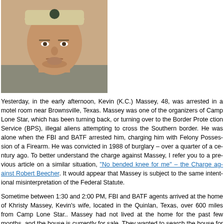[Figure (photo): Photo of a middle-aged white man wearing a tan/beige baseball cap with a dark emblem, looking directly at the camera with a neutral/stern expression. He appears to be in a room with a light-colored wall.]
Yesterday, in the early afternoon, Kevin (K.C.) Massey, 48, was arrested in a motel room near Brownsville, Texas. Massey was one of the organizers of Camp Lone Star, which has been turning back, or turning over to the Border Protection Service (BPS), illegal aliens attempting to cross the Southern border. He was alone when the FBI and BATF arrested him, charging him with Felony Possession of a Firearm. He was convicted in 1988 of burglary – over a quarter of a century ago. To better understand the charge against Massey, I refer you to a previous article on a similar situation, "No bended knee for me" – the Charge against Robert Beecher. It would appear that Massey is subject to the same intentional misinterpretation of the Federal Statute.
Sometime between 1:30 and 2:00 PM, FBI and BATF agents arrived at the home of Khristy Massey, Kevin's wife, located in the Quinlan, Texas, over 600 miles from Camp Lone Star.. Massey had not lived at the home for the past few months, and the house is currently for sale. They wanted to search the house for firearms, though Khristy refused, absent a warrant. She was then threatened with arrest if she removed any firearms from the house. Interesting that one ca